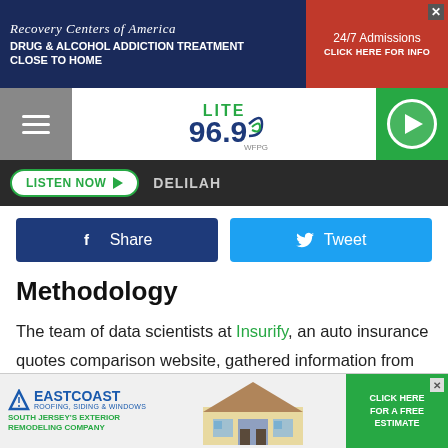[Figure (screenshot): Recovery Centers of America advertisement banner - drug and alcohol addiction treatment with 24/7 admissions click here for info]
[Figure (logo): Lite 96.9 WFPG radio station header with hamburger menu and play button]
[Figure (screenshot): Listen Now button with DELILAH label on dark bar]
[Figure (screenshot): Facebook Share and Twitter Tweet social sharing buttons]
Methodology
The team of data scientists at Insurify, an auto insurance quotes comparison website, gathered information from their database of over 1.6 million car insurance shoppers. Drivers are asked about vehicle and personal information, along with driving history going back seven years. Included within these
[Figure (screenshot): East Coast Roofing, Siding and Windows advertisement - South Jersey's Exterior Remodeling Company with Click Here For A Free Estimate button]